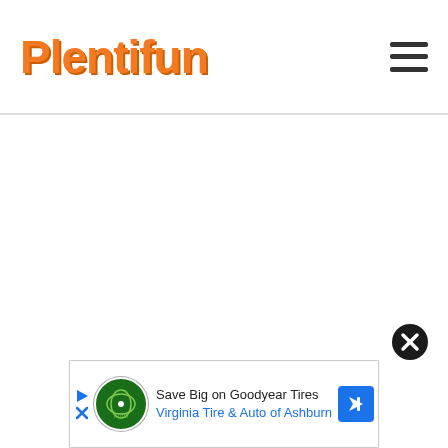Plentifun
[Figure (screenshot): Blank white content area (advertisement placeholder)]
[Figure (other): Close/X button (dark circle with X)]
[Figure (infographic): Advertisement banner: Save Big on Goodyear Tires - Virginia Tire & Auto of Ashburn]